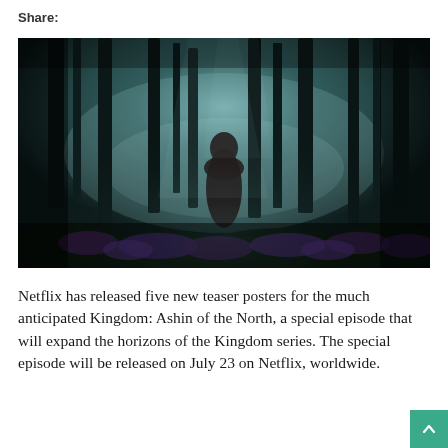Share:
[Figure (photo): A hooded figure standing in a dark, misty forest with tall trees and purple wildflowers on the ground, atmospheric blue-green lighting — promotional art for Kingdom: Ashin of the North on Netflix.]
Netflix has released five new teaser posters for the much anticipated Kingdom: Ashin of the North, a special episode that will expand the horizons of the Kingdom series. The special episode will be released on July 23 on Netflix, worldwide.